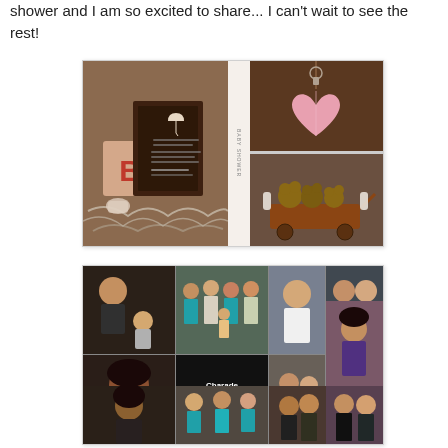shower and I am so excited to share... I can't wait to see the rest!
[Figure (photo): Baby shower photo collage showing an invitation card with a brown background and umbrella design next to alphabet blocks, vertical text reading 'baby shower', a pink heart ornament hanging, and stuffed bears in a wooden wagon.]
[Figure (photo): Baby shower group photo collage with multiple photos of guests, including candid shots of people socializing, a black panel with text reading 'Charade Fun!', and various group shots of women at the event.]